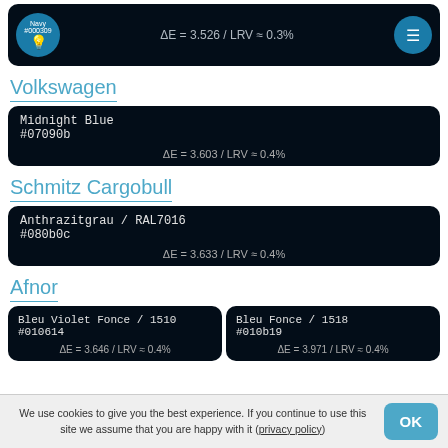[Figure (screenshot): Top navigation bar with logo circle, delta E value, and menu circle. ΔE = 3.526 / LRV ≈ 0.3%]
Volkswagen
Midnight Blue
#07090b
ΔE = 3.603 / LRV ≈ 0.4%
Schmitz Cargobull
Anthrazitgrau / RAL7016
#080b0c
ΔE = 3.633 / LRV ≈ 0.4%
Afnor
Bleu Violet Fonce / 1510
#010614
ΔE = 3.646 / LRV ≈ 0.4%
Bleu Fonce / 1518
#010b19
ΔE = 3.971 / LRV ≈ 0.4%
We use cookies to give you the best experience. If you continue to use this site we assume that you are happy with it (privacy policy)